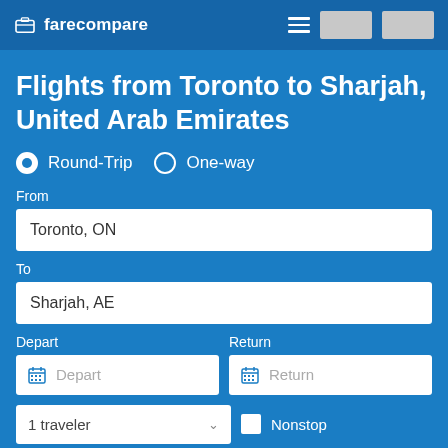farecompare
Flights from Toronto to Sharjah, United Arab Emirates
Round-Trip   One-way
From
Toronto, ON
To
Sharjah, AE
Depart
Return
Depart
Return
1 traveler
Nonstop